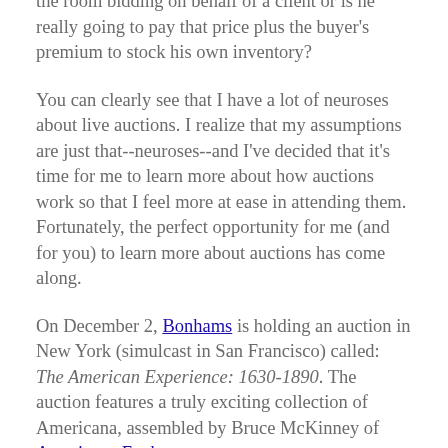person? How do they know when their item is coming to the block? Is the other book dealer in the room bidding on behalf of a client or is he really going to pay that price plus the buyer's premium to stock his own inventory?
You can clearly see that I have a lot of neuroses about live auctions. I realize that my assumptions are just that--neuroses--and I've decided that it's time for me to learn more about how auctions work so that I feel more at ease in attending them. Fortunately, the perfect opportunity for me (and for you) to learn more about auctions has come along.
On December 2, Bonhams is holding an auction in New York (simulcast in San Francisco) called: The American Experience: 1630-1890. The auction features a truly exciting collection of Americana, assembled by Bruce McKinney of Americana Exchange.